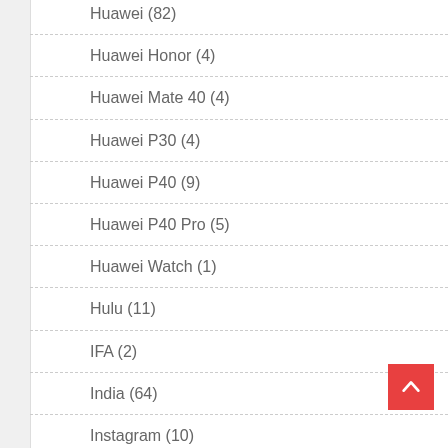Huawei (82)
Huawei Honor (4)
Huawei Mate 40 (4)
Huawei P30 (4)
Huawei P40 (9)
Huawei P40 Pro (5)
Huawei Watch (1)
Hulu (11)
IFA (2)
India (64)
Instagram (10)
Intel (5)
iOS (2)